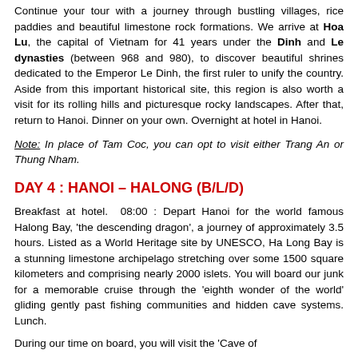Continue your tour with a journey through bustling villages, rice paddies and beautiful limestone rock formations. We arrive at Hoa Lu, the capital of Vietnam for 41 years under the Dinh and Le dynasties (between 968 and 980), to discover beautiful shrines dedicated to the Emperor Le Dinh, the first ruler to unify the country. Aside from this important historical site, this region is also worth a visit for its rolling hills and picturesque rocky landscapes. After that, return to Hanoi. Dinner on your own. Overnight at hotel in Hanoi.
Note: In place of Tam Coc, you can opt to visit either Trang An or Thung Nham.
DAY 4 : HANOI – HALONG (B/L/D)
Breakfast at hotel.  08:00 : Depart Hanoi for the world famous Halong Bay, 'the descending dragon', a journey of approximately 3.5 hours. Listed as a World Heritage site by UNESCO, Ha Long Bay is a stunning limestone archipelago stretching over some 1500 square kilometers and comprising nearly 2000 islets. You will board our junk for a memorable cruise through the 'eighth wonder of the world' gliding gently past fishing communities and hidden cave systems. Lunch.
During our time on board, you will visit the 'Cave of